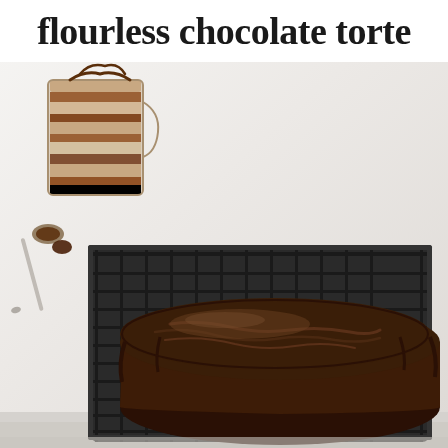flourless chocolate torte
[Figure (photo): A flourless chocolate torte with glossy chocolate ganache on top, sitting on a black wire cooling rack. In the background there is a glass measuring cup and a spoon with chocolate. The scene is on a white marble surface.]